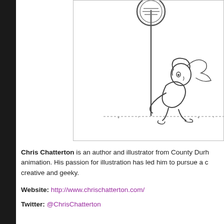[Figure (illustration): Pencil sketch illustration showing a character sitting or crouching beneath a pole with a circular sign at the top, drawn in a loose cartoon style.]
Chris Chatterton is an author and illustrator from County Durh... animation. His passion for illustration has led him to pursue a c... creative and geeky.
Website: http://www.chrischatterton.com/
Twitter: @ChrisChatterton